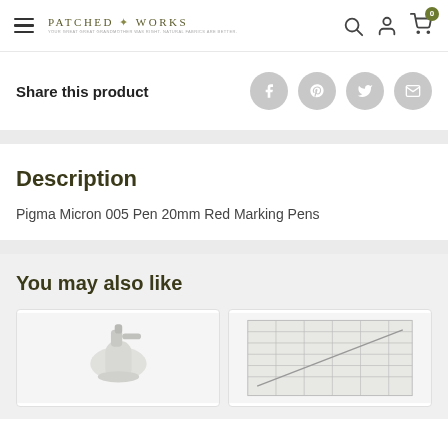Patched Works — navigation header with hamburger menu, logo, search, account, and cart icons
Share this product
Description
Pigma Micron 005 Pen 20mm Red Marking Pens
You may also like
[Figure (photo): Two product thumbnails partially visible: a white spray bottle and a clear quilting ruler with grid markings]